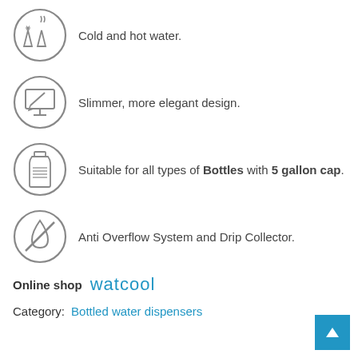Cold and hot water.
Slimmer, more elegant design.
Suitable for all types of Bottles with 5 gallon cap.
Anti Overflow System and Drip Collector.
Online shop  watcool
Category:  Bottled water dispensers